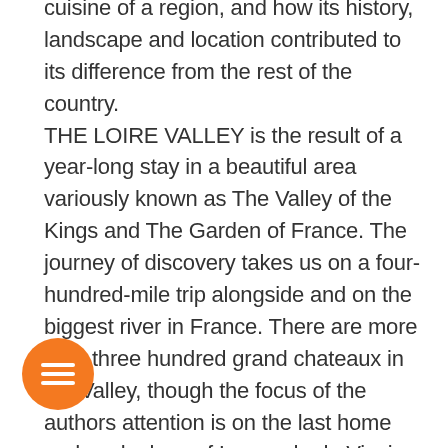cuisine of a region, and how its history, landscape and location contributed to its difference from the rest of the country. THE LOIRE VALLEY is the result of a year-long stay in a beautiful area variously known as The Valley of the Kings and The Garden of France. The journey of discovery takes us on a four-hundred-mile trip alongside and on the biggest river in France. There are more than three hundred grand chateaux in the Valley, though the focus of the authors attention is on the last home and work place of Leonardo da Vinci, walks on the battlements of Richard the Lionhearts favourite castle and an underground search of modern troglodytes. And we also discover how and why frogs legs first became a delicacy in this
[Figure (other): Orange circular button with three horizontal white lines (hamburger/menu icon)]